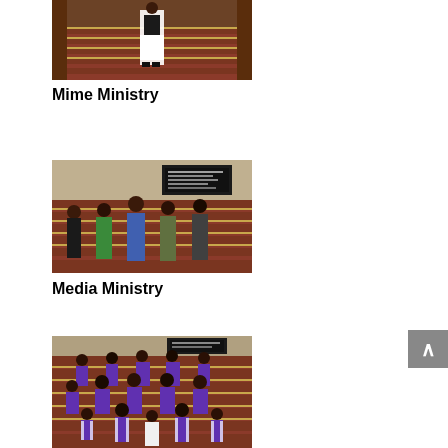[Figure (photo): Person standing in church pews with red upholstery]
Mime Ministry
[Figure (photo): Group of five young people standing in front of church pews with red upholstery and a plaque on the wall]
Media Ministry
[Figure (photo): Group of children and adults wearing purple and white choir robes standing on church steps with red upholstery]